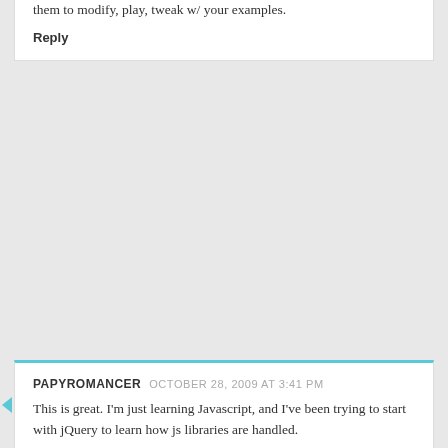them to modify, play, tweak w/ your examples.
Reply
PAPYROMANCER  OCTOBER 28, 2009 AT 3:41 PM
This is great. I'm just learning Javascript, and I've been trying to start with jQuery to learn how js libraries are handled.